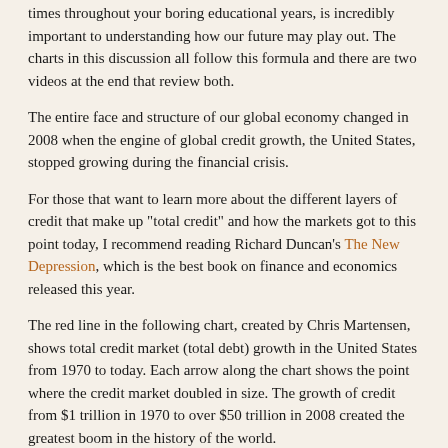times throughout your boring educational years, is incredibly important to understanding how our future may play out. The charts in this discussion all follow this formula and there are two videos at the end that review both.
The entire face and structure of our global economy changed in 2008 when the engine of global credit growth, the United States, stopped growing during the financial crisis.
For those that want to learn more about the different layers of credit that make up "total credit" and how the markets got to this point today, I recommend reading Richard Duncan's The New Depression, which is the best book on finance and economics released this year.
The red line in the following chart, created by Chris Martensen, shows total credit market (total debt) growth in the United States from 1970 to today. Each arrow along the chart shows the point where the credit market doubled in size. The growth of credit from $1 trillion in 1970 to over $50 trillion in 2008 created the greatest boom in the history of the world.